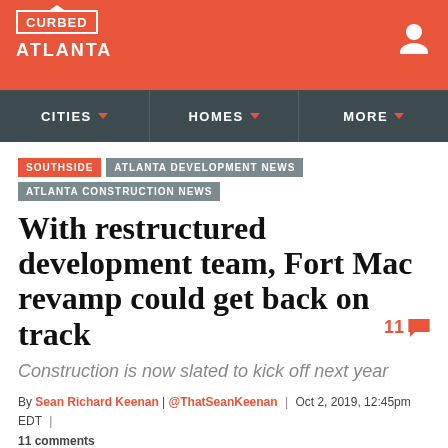CURBED ATLANTA
CITIES | HOMES | MORE
SOUTHSIDE  ATLANTA DEVELOPMENT NEWS  ATLANTA CONSTRUCTION NEWS
With restructured development team, Fort Mac revamp could get back on track
Construction is now slated to kick off next year
By Sean Richard Keenan | @ThatSeanKeenan | Oct 2, 2019, 12:45pm EDT | 11 comments